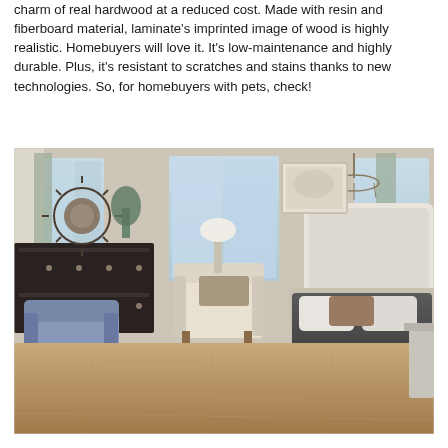charm of real hardwood at a reduced cost. Made with resin and fiberboard material, laminate's imprinted image of wood is highly realistic. Homebuyers will love it. It's low-maintenance and highly durable. Plus, it's resistant to scratches and stains thanks to new technologies. So, for homebuyers with pets, check!
[Figure (photo): A bright, elegantly furnished bedroom with laminate wood flooring. The room features a large upholstered bed with dark bedding, a white tufted bench at the foot of the bed, a blue armchair with a matching ottoman, a dark wood dresser, a decorative sunburst mirror on the wall, large windows with drapes, and a chandelier. The warm tan wood-look laminate floor extends throughout the room.]